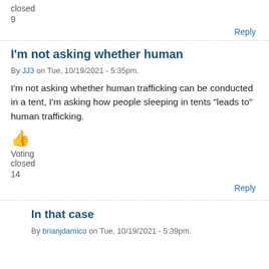closed
9
Reply
I'm not asking whether human
By JJ3 on Tue, 10/19/2021 - 5:35pm.
I'm not asking whether human trafficking can be conducted in a tent, I'm asking how people sleeping in tents "leads to" human trafficking.
👍 Voting closed 14
Reply
In that case
By brianjdamico on Tue, 10/19/2021 - 5:39pm.